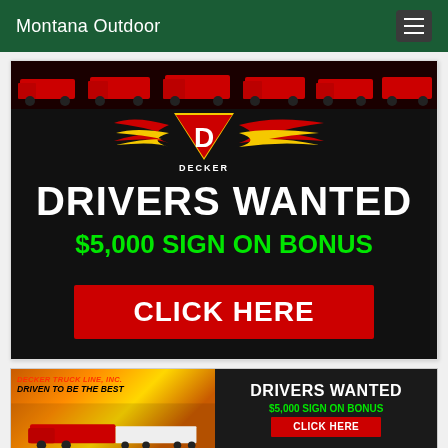Montana Outdoor
[Figure (photo): Decker truck line advertisement on dark background. Top shows red semi trucks in a row. Decker logo (yellow triangle with D) with red and yellow swoosh graphic. Text: DRIVERS WANTED in white, $5,000 SIGN ON BONUS in green, CLICK HERE red button.]
[Figure (photo): Decker Truck Line Inc banner ad. Left side shows a red Decker semi truck against orange/yellow sunset sky background with text DECKER TRUCK LINE, INC. DRIVEN TO BE THE BEST in italic. Right side dark background with DRIVERS WANTED in white, $5,000 SIGN ON BONUS in green, CLICK HERE red button.]